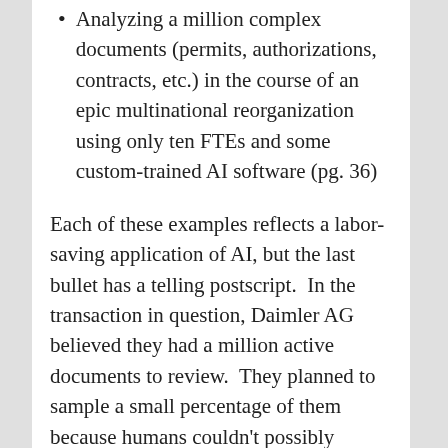Analyzing a million complex documents (permits, authorizations, contracts, etc.) in the course of an epic multinational reorganization using only ten FTEs and some custom-trained AI software (pg. 36)
Each of these examples reflects a labor-saving application of AI, but the last bullet has a telling postscript.  In the transaction in question, Daimler AG believed they had a million active documents to review.  They planned to sample a small percentage of them because humans couldn't possibly review them all.  Once the work was AI-enabled, the